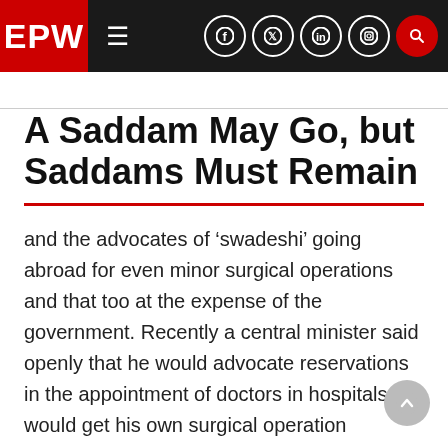EPW
A Saddam May Go, but Saddams Must Remain
and the advocates of ‘swadeshi’ going abroad for even minor surgical operations and that too at the expense of the government. Recently a central minister said openly that he would advocate reservations in the appointment of doctors in hospitals but would get his own surgical operation performed by the most efficient surgeon. It is also not uncommon to find academics advocating reservations in public forums but refusing to make